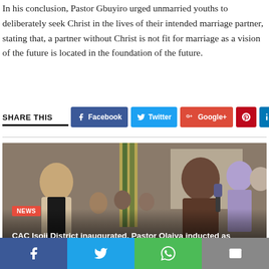In his conclusion, Pastor Gbuyiro urged unmarried youths to deliberately seek Christ in the lives of their intended marriage partner, stating that, a partner without Christ is not fit for marriage as a vision of the future is located in the foundation of the future.
SHARE THIS
[Figure (other): Social share buttons: Facebook, Twitter, Google+, Pinterest, LinkedIn]
[Figure (photo): Photo of people at a church event, with a man in a suit and clerical collar on the left and another man holding a microphone on the right. A red NEWS badge is visible. Caption reads: CAC Isoji District inaugurated, Pastor Olaiya inducted as pioneer Superintendent]
CAC Isoji District inaugurated, Pastor Olaiya inducted as pioneer Superintendent
[Figure (photo): Bottom partial image showing a crowd of people in colorful attire]
Social share bar with Facebook, Twitter, WhatsApp, Email icons